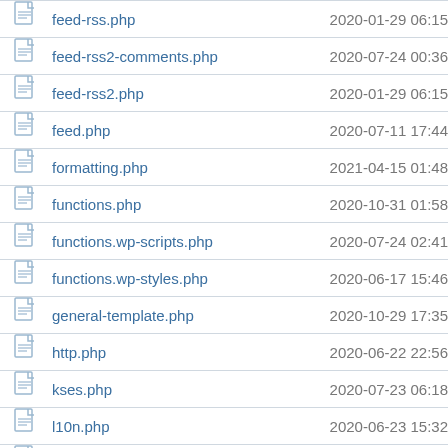|  | Filename | Date |
| --- | --- | --- |
| [icon] | feed-rss.php | 2020-01-29 06:15 |
| [icon] | feed-rss2-comments.php | 2020-07-24 00:36 |
| [icon] | feed-rss2.php | 2020-01-29 06:15 |
| [icon] | feed.php | 2020-07-11 17:44 |
| [icon] | formatting.php | 2021-04-15 01:48 |
| [icon] | functions.php | 2020-10-31 01:58 |
| [icon] | functions.wp-scripts.php | 2020-07-24 02:41 |
| [icon] | functions.wp-styles.php | 2020-06-17 15:46 |
| [icon] | general-template.php | 2020-10-29 17:35 |
| [icon] | http.php | 2020-06-22 22:56 |
| [icon] | kses.php | 2020-07-23 06:18 |
| [icon] | l10n.php | 2020-06-23 15:32 |
| [icon] | link-template.php | 2020-07-24 02:41 |